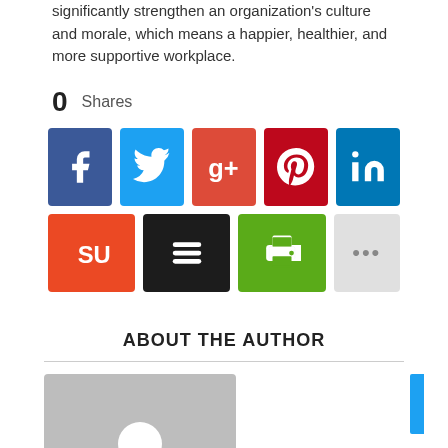significantly strengthen an organization's culture and morale, which means a happier, healthier, and more supportive workplace.
0  Shares
[Figure (infographic): Social media share buttons: Facebook (blue), Twitter (light blue), Google+ (orange-red), Pinterest (red), LinkedIn (blue) in first row; StumbleUpon (orange), Buffer (black), Print (green), More/ellipsis (light gray) in second row.]
ABOUT THE AUTHOR
[Figure (photo): Gray placeholder avatar image with white circle/head silhouette for author profile photo.]